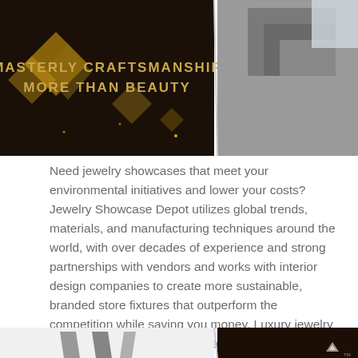[Figure (photo): Two-panel image: left panel shows dark background with golden text 'MASTERLY CRAFTSMANSHIP MORE THAN BEAUTY' and decorative golden shapes; right panel shows close-up of brushed metal/aluminum frame corners.]
Need jewelry showcases that meet your environmental initiatives and lower your costs? Jewelry Showcase Depot utilizes global trends, materials, and manufacturing techniques around the world, with over decades of experience and strong partnerships with vendors and works with interior design companies to create more sustainable, branded store fixtures that outperform the competition while saving you money. Luxury jewelry showcases are desired more as value-added investments than for their inherent beauty or craftsmanship.
[Figure (photo): Two-panel bottom image: left panel shows metallic frame pieces at angles against white background; right panel shows dark background with bronze/copper colored decorative elements. A small triangular logo appears in the lower right.]